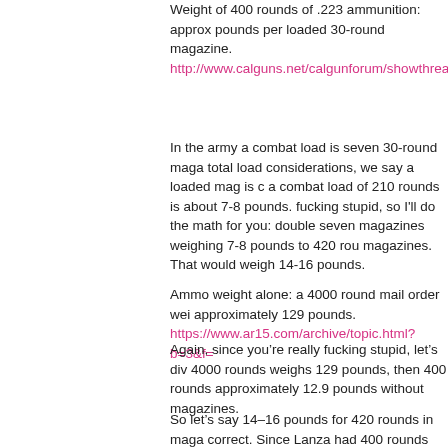Weight of 400 rounds of .223 ammunition: approx pounds per loaded 30-round magazine. http://www.calguns.net/calgunforum/showthread.p
In the army a combat load is seven 30-round maga total load considerations, we say a loaded mag is a combat load of 210 rounds is about 7-8 pounds. fucking stupid, so I'll do the math for you: double seven magazines weighing 7-8 pounds to 420 rou magazines. That would weigh 14-16 pounds.
Ammo weight alone: a 4000 round mail order wei approximately 129 pounds. https://www.ar15.com/archive/topic.html?b=3&f=
Again, since you're really fucking stupid, let's div 4000 rounds weighs 129 pounds, then 400 rounds approximately 12.9 pounds without magazines.
So let's say 14-16 pounds for 420 rounds in maga correct. Since Lanza had 400 rounds (according to were all on him, which I don't think is correct), let basic math. The kind you're incapable of.